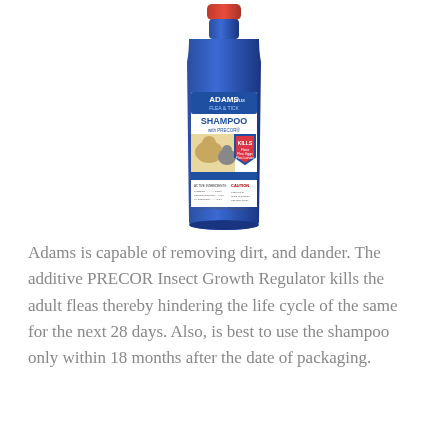[Figure (photo): Adams Plus Flea & Tick Shampoo with Precor bottle — blue bottle with red cap, label showing a dog and cat, shield logo with KILLS, and CAUTION section at bottom.]
Adams is capable of removing dirt, and dander. The additive PRECOR Insect Growth Regulator kills the adult fleas thereby hindering the life cycle of the same for the next 28 days. Also, is best to use the shampoo only within 18 months after the date of packaging.